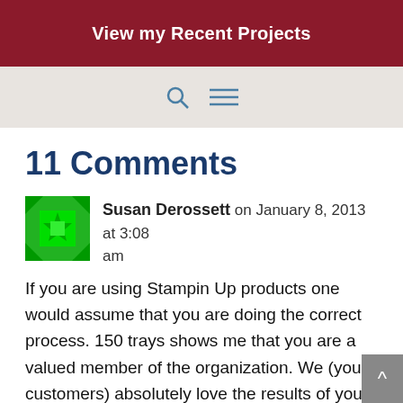View my Recent Projects
[Figure (other): Navigation bar with search icon and hamburger menu icon]
11 Comments
[Figure (illustration): Green quilt/star pattern avatar icon for Susan Derossett]
Susan Derossett on January 8, 2013 at 3:08 am
If you are using Stampin Up products one would assume that you are doing the correct process. 150 trays shows me that you are a valued member of the organization. We (your customers) absolutely love the results of your efforts. I looked at mine just the other